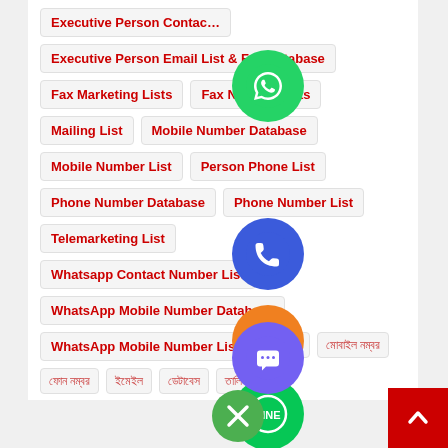Executive Person Contact
Executive Person Email List & Fax Database
Fax Marketing Lists
Fax Number Lists
Mailing List
Mobile Number Database
Mobile Number List
Person Phone List
Phone Number Database
Phone Number List
Telemarketing List
Whatsapp Contact Number List
WhatsApp Mobile Number Database
WhatsApp Mobile Number List
ব্যবহারকারী
মোবাইল নম্বর
ফোন নম্বর
ইমেইল
ডেটাবেস
তালিকা
[Figure (logo): WhatsApp green circle icon]
[Figure (logo): Blue phone/viber circle icon]
[Figure (logo): Orange email circle icon]
[Figure (logo): LINE green circle icon]
[Figure (logo): Viber purple circle icon]
[Figure (logo): Green close/X circle icon]